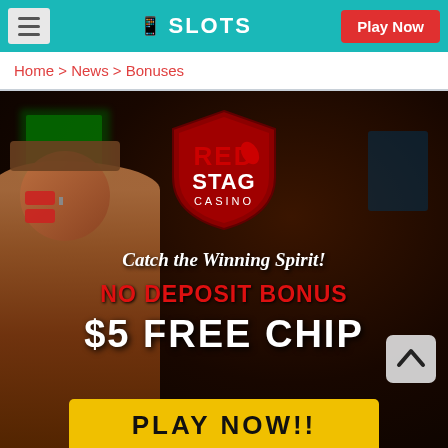SLOTS | Play Now
Home > News > Bonuses
[Figure (illustration): Red Stag Casino promotional banner. Dark casino background with a person wearing sunglasses and hat on the left. Red Stag Casino shield logo in center top. Text reads: Catch the Winning Spirit! NO DEPOSIT BONUS $5 FREE CHIP PLAY NOW!!]